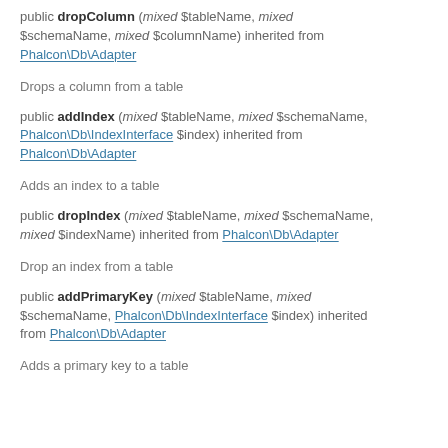public dropColumn (mixed $tableName, mixed $schemaName, mixed $columnName) inherited from Phalcon\Db\Adapter
Drops a column from a table
public addIndex (mixed $tableName, mixed $schemaName, Phalcon\Db\IndexInterface $index) inherited from Phalcon\Db\Adapter
Adds an index to a table
public dropIndex (mixed $tableName, mixed $schemaName, mixed $indexName) inherited from Phalcon\Db\Adapter
Drop an index from a table
public addPrimaryKey (mixed $tableName, mixed $schemaName, Phalcon\Db\IndexInterface $index) inherited from Phalcon\Db\Adapter
Adds a primary key to a table